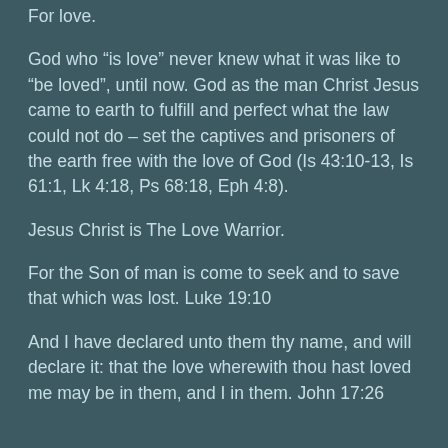For love.
God who “is love” never knew what it was like to “be loved”, until now. God as the man Christ Jesus came to earth to fulfill and perfect what the law could not do – set the captives and prisoners of the earth free with the love of God (Is 43:10-13, Is 61:1, Lk 4:18, Ps 68:18, Eph 4:8).
Jesus Christ is The Love Warrior.
For the Son of man is come to seek and to save that which was lost. Luke 19:10
And I have declared unto them thy name, and will declare it: that the love wherewith thou hast loved me may be in them, and I in them. John 17:26